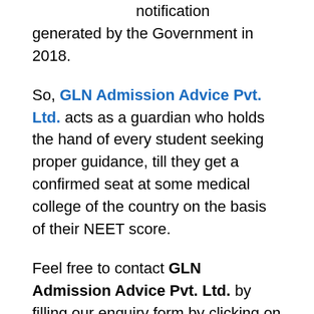notification generated by the Government in 2018.
So, GLN Admission Advice Pvt. Ltd. acts as a guardian who holds the hand of every student seeking proper guidance, till they get a confirmed seat at some medical college of the country on the basis of their NEET score.
Feel free to contact GLN Admission Advice Pvt. Ltd. by filling our enquiry form by clicking on the “REGISTRATION” option in the right. You can also directly click on the link https://admissionadvice.in/Registration to fill our registration form.